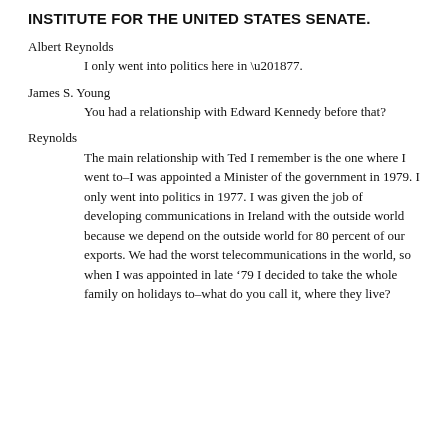INSTITUTE FOR THE UNITED STATES SENATE.
Albert Reynolds
    I only went into politics here in ‘77.
James S. Young
    You had a relationship with Edward Kennedy before that?
Reynolds
    The main relationship with Ted I remember is the one where I went to–I was appointed a Minister of the government in 1979. I only went into politics in 1977. I was given the job of developing communications in Ireland with the outside world because we depend on the outside world for 80 percent of our exports. We had the worst telecommunications in the world, so when I was appointed in late ’79 I decided to take the whole family on holidays to–what do you call it, where they live?